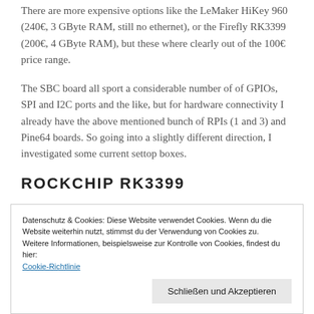There are more expensive options like the LeMaker HiKey 960 (240€, 3 GByte RAM, still no ethernet), or the Firefly RK3399 (200€, 4 GByte RAM), but these where clearly out of the 100€ price range.
The SBC board all sport a considerable number of of GPIOs, SPI and I2C ports and the like, but for hardware connectivity I already have the above mentioned bunch of RPIs (1 and 3) and Pine64 boards. So going into a slightly different direction, I investigated some current settop boxes.
ROCKCHIP RK3399
Datenschutz & Cookies: Diese Website verwendet Cookies. Wenn du die Website weiterhin nutzt, stimmst du der Verwendung von Cookies zu.
Weitere Informationen, beispielsweise zur Kontrolle von Cookies, findest du hier:
Cookie-Richtlinie